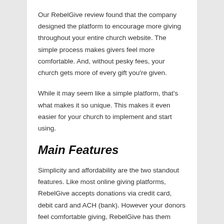Our RebelGive review found that the company designed the platform to encourage more giving throughout your entire church website. The simple process makes givers feel more comfortable. And, without pesky fees, your church gets more of every gift you're given.
While it may seem like a simple platform, that's what makes it so unique. This makes it even easier for your church to implement and start using.
Main Features
Simplicity and affordability are the two standout features. Like most online giving platforms, RebelGive accepts donations via credit card, debit card and ACH (bank). However your donors feel comfortable giving, RebelGive has them covered.
The main feature of this platform is GivingFlows. This is the